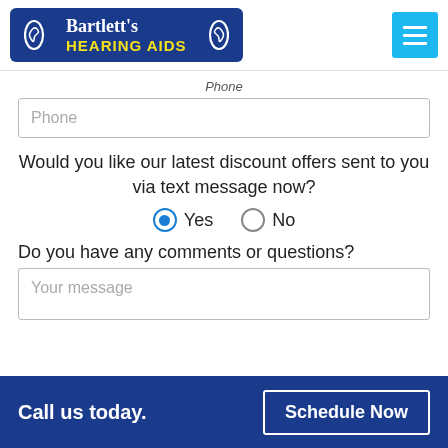[Figure (logo): Bartlett's Hearing Aids logo — white text on dark blue background with ear icons, plus a cyan hamburger menu button]
Phone
Phone (input placeholder)
Would you like our latest discount offers sent to you via text message now?
Yes  No (radio buttons, Yes selected)
Do you have any comments or questions?
Your message (textarea placeholder)
Call us today.
Schedule Now